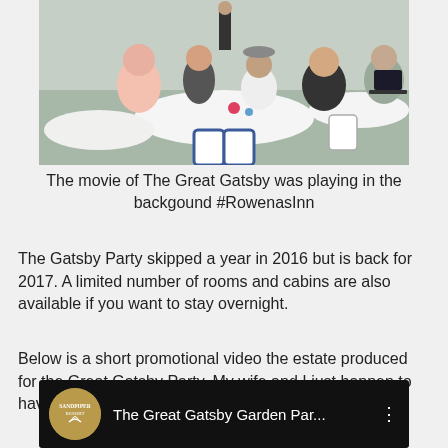[Figure (photo): Party scene with people seated at white-clothed round tables under a tent, dressed in 1920s Great Gatsby style attire]
The movie of The Great Gatsby was playing in the backgound #RowenasInn
The Gatsby Party skipped a year in 2016 but is back for 2017. A limited number of rooms and cabins are also available if you want to stay overnight.
Below is a short promotional video the estate produced for the Great Gatsby Party. My wife and I just happen to have a cameo appearance.
[Figure (screenshot): YouTube video thumbnail showing The Great Gatsby Garden Par... with Sandpiper Resort logo]